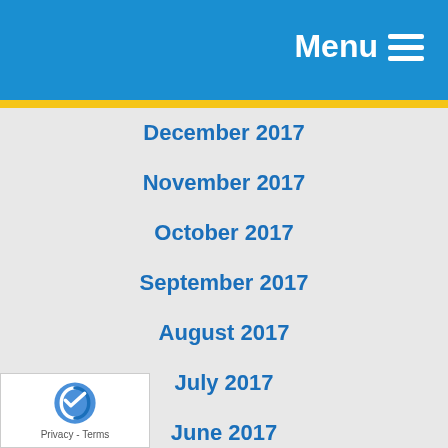Menu
December 2017
November 2017
October 2017
September 2017
August 2017
July 2017
June 2017
May 2017
April 2017
March 2017
February 2017
January 2017
December 2016
November 2016